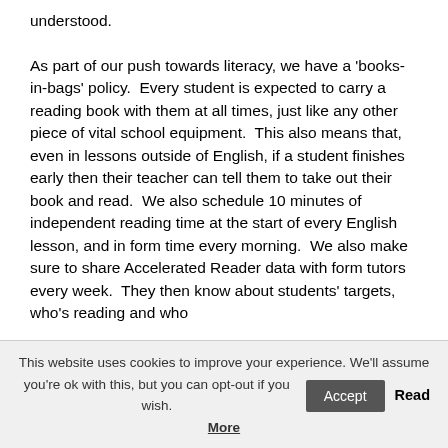understood.

As part of our push towards literacy, we have a 'books-in-bags' policy. Every student is expected to carry a reading book with them at all times, just like any other piece of vital school equipment. This also means that, even in lessons outside of English, if a student finishes early then their teacher can tell them to take out their book and read. We also schedule 10 minutes of independent reading time at the start of every English lesson, and in form time every morning. We also make sure to share Accelerated Reader data with form tutors every week. They then know about students' targets, who's reading and who
This website uses cookies to improve your experience. We'll assume you're ok with this, but you can opt-out if you wish. Accept Read More